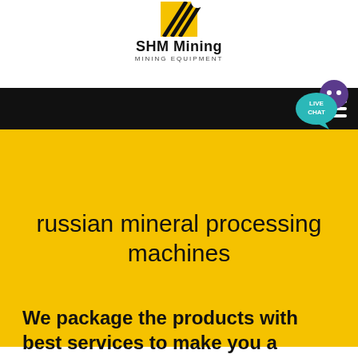[Figure (logo): SHM Mining logo with yellow and black diagonal-striped icon above the text 'SHM Mining' and subtitle 'MINING EQUIPMENT']
SHM Mining
MINING EQUIPMENT
[Figure (other): Teal speech bubble with text 'LIVE CHAT' and purple cartoon character head in top-right corner of black navigation bar]
russian mineral processing machines
We package the products with best services to make you a happy